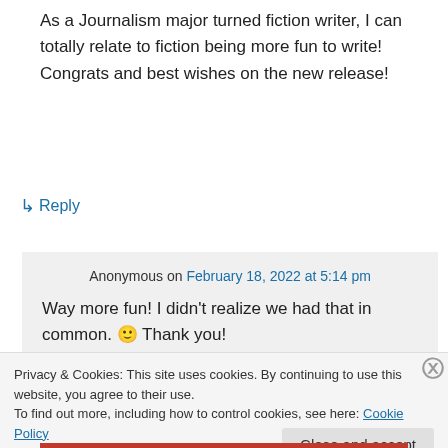As a Journalism major turned fiction writer, I can totally relate to fiction being more fun to write! Congrats and best wishes on the new release!
↳ Reply
Anonymous on February 18, 2022 at 5:14 pm
Way more fun! I didn't realize we had that in common. 🙂 Thank you!
Privacy & Cookies: This site uses cookies. By continuing to use this website, you agree to their use.
To find out more, including how to control cookies, see here: Cookie Policy
Close and accept